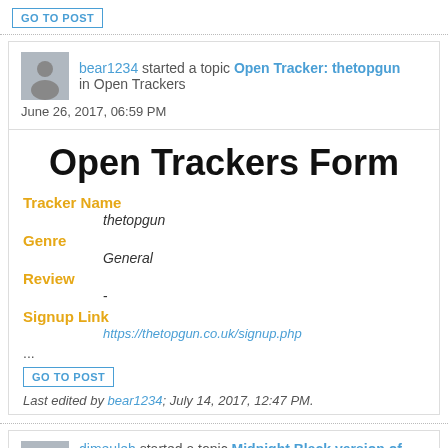GO TO POST
bear1234 started a topic Open Tracker: thetopgun in Open Trackers
June 26, 2017, 06:59 PM
Open Trackers Form
Tracker Name
thetopgun
Genre
General
Review
-
Signup Link
https://thetopgun.co.uk/signup.php
...
GO TO POST
Last edited by bear1234; July 14, 2017, 12:47 PM.
dimeuleh started a topic Midnight Black version of OnePlus 3T is sold out in Mobile Phones
May 5, 2017, 08:23 AM